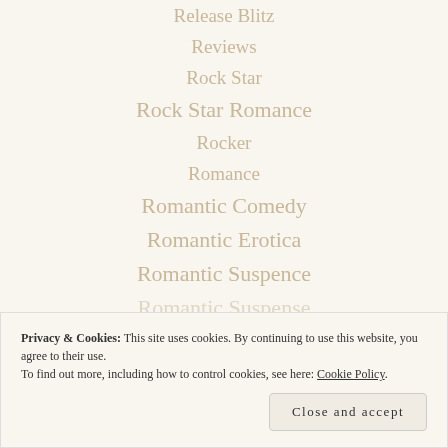Release Blitz
Reviews
Rock Star
Rock Star Romance
Rocker
Romance
Romantic Comedy
Romantic Erotica
Romantic Suspence
Romantic Suspense
Privacy & Cookies: This site uses cookies. By continuing to use this website, you agree to their use.
To find out more, including how to control cookies, see here: Cookie Policy
Close and accept